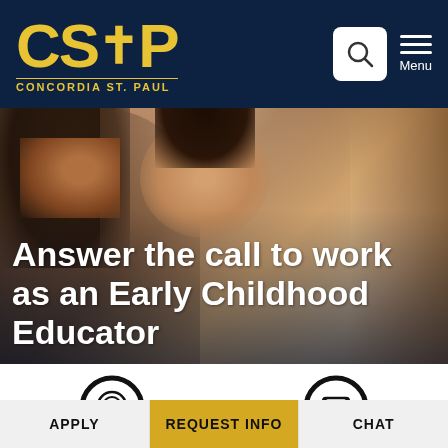[Figure (logo): CSP Concordia St. Paul logo in gold on dark navy background]
[Figure (photo): Smiling woman educator with child looking at something together, warm tones]
Answer the call to work as an Early Childhood Educator
[Figure (illustration): Award/ribbon circle icon]
[Figure (illustration): Bow-tie/diploma circle icon]
APPLY
REQUEST INFO
CHAT